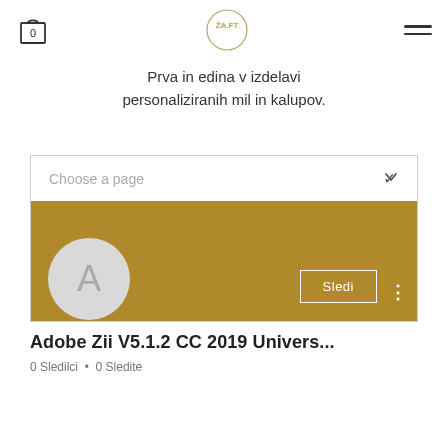[Figure (screenshot): Website header with shopping cart icon showing 0, a circular logo with ŽA.FT text, and a hamburger menu icon]
Prva in edina v izdelavi personaliziranih mil in kalupov.
[Figure (screenshot): Dropdown selector showing 'Choose a page' with chevron, a gold/dark-yellow banner area, and a Sledi (Follow) button with three-dot menu]
[Figure (other): Gray circular avatar with letter A]
Adobe Zii V5.1.2 CC 2019 Univers...
0 Sledilci • 0 Sledite